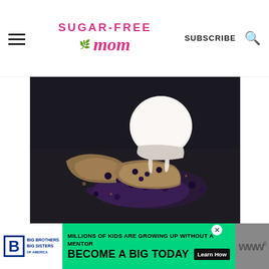Sugar-Free Mom | SUBSCRIBE
[Figure (photo): Dark styled food photo showing blueberry baked goods/cookies with a scoop of vanilla ice cream on a dark background]
Subscribe to Sugar Free Mom!
Get updates on the latest posts and more from Sugar Free Mom straight to your inbox.
[Figure (other): Advertisement banner: Big Brothers Big Sisters - MILLIONS OF KIDS ARE GROWING UP WITHOUT A MENTOR. BECOME A BIG TODAY. Learn How.]